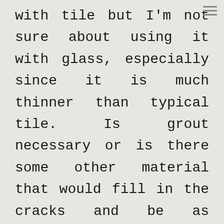with tile but I'm not sure about using it with glass, especially since it is much thinner than typical tile. Is grout necessary or is there some other material that would fill in the cracks and be as durable?

I'm also thinking about doing small panels that can then be installed like a larger piece of tile.